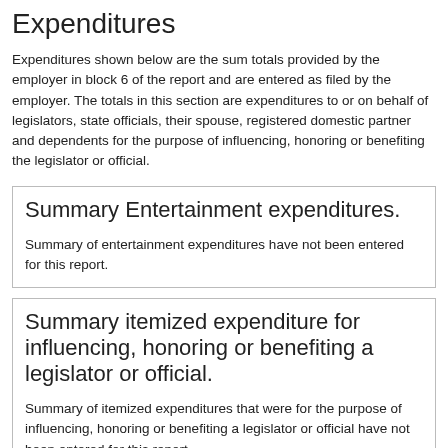Expenditures
Expenditures shown below are the sum totals provided by the employer in block 6 of the report and are entered as filed by the employer. The totals in this section are expenditures to or on behalf of legislators, state officials, their spouse, registered domestic partner and dependents for the purpose of influencing, honoring or benefiting the legislator or official.
Summary Entertainment expenditures.
Summary of entertainment expenditures have not been entered for this report.
Summary itemized expenditure for influencing, honoring or benefiting a legislator or official.
Summary of itemized expenditures that were for the purpose of influencing, honoring or benefiting a legislator or official have not been entered for this report.
Summary other lobbying related expenditures.
Summary of other lobbying related expenditures have not been entered...